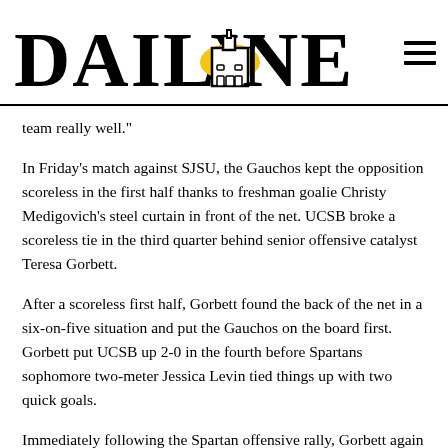DAILY NEXUS
team really well."
In Friday's match against SJSU, the Gauchos kept the opposition scoreless in the first half thanks to freshman goalie Christy Medigovich's steel curtain in front of the net. UCSB broke a scoreless tie in the third quarter behind senior offensive catalyst Teresa Gorbett.
After a scoreless first half, Gorbett found the back of the net in a six-on-five situation and put the Gauchos on the board first. Gorbett put UCSB up 2-0 in the fourth before Spartans sophomore two-meter Jessica Levin tied things up with two quick goals.
Immediately following the Spartan offensive rally, Gorbett again came up with the heroics, powering in the game-